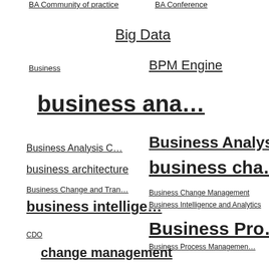BA Community of practice
BA Conference
Big Data
Business
BPM Engine
business ana…
Business Analysis C…
Business Analyst
business architecture
business cha…
Business Change and Tran…
Business Change Management
business intellige…
Business Intelligence and Analytics
Business Pro…
CDO
Business Process Managemen…
change management
Change Manager
chief data officer
data
Data Analytics
data governa…
Data Governance Conference